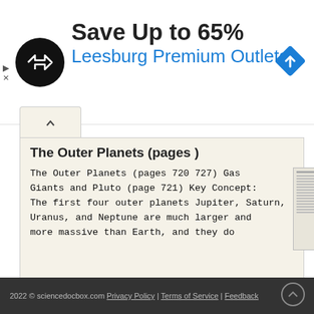[Figure (infographic): Advertisement banner: black circular logo with double arrow symbol, headline 'Save Up to 65%', subheadline 'Leesburg Premium Outlets', blue diamond navigation icon on right]
The Outer Planets (pages )
The Outer Planets (pages 720 727) Gas Giants and Pluto (page 721) Key Concept: The first four outer planets Jupiter, Saturn, Uranus, and Neptune are much larger and more massive than Earth, and they do
[Figure (screenshot): Thumbnail image of a document page about The Outer Planets]
More information →
2022 © sciencedocbox.com Privacy Policy | Terms of Service | Feedback